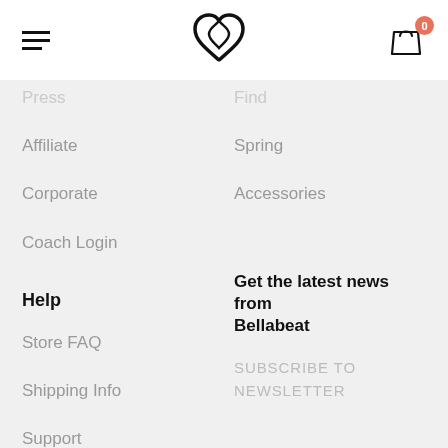[Figure (logo): Bellabeat logo - stylized heart/infinity symbol in black]
Press
Affiliate
Corporate
Coach Login
Help
Store FAQ
Shipping Info
Support
Specific Inquiries
Terms of Use
Find
Spring
Accessories
Get the latest news from Bellabeat
SUBSCRIBE TO NEWSLETTER